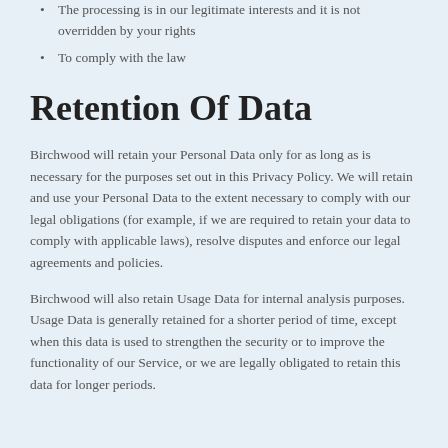The processing is in our legitimate interests and it is not overridden by your rights
To comply with the law
Retention Of Data
Birchwood will retain your Personal Data only for as long as is necessary for the purposes set out in this Privacy Policy. We will retain and use your Personal Data to the extent necessary to comply with our legal obligations (for example, if we are required to retain your data to comply with applicable laws), resolve disputes and enforce our legal agreements and policies.
Birchwood will also retain Usage Data for internal analysis purposes. Usage Data is generally retained for a shorter period of time, except when this data is used to strengthen the security or to improve the functionality of our Service, or we are legally obligated to retain this data for longer periods.